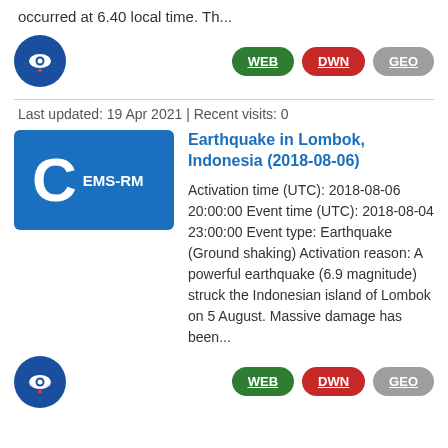occurred at 6.40 local time. Th...
[Figure (logo): Blue circle icon with eye and flag emblem]
WEB DWN GEO
Last updated: 19 Apr 2021 | Recent visits: 0
[Figure (logo): Blue rectangle badge with large C and EMS-RM text]
Earthquake in Lombok, Indonesia (2018-08-06)
Activation time (UTC): 2018-08-06 20:00:00 Event time (UTC): 2018-08-04 23:00:00 Event type: Earthquake (Ground shaking) Activation reason: A powerful earthquake (6.9 magnitude) struck the Indonesian island of Lombok on 5 August. Massive damage has been...
[Figure (logo): Blue circle icon with eye and flag emblem]
WEB DWN GEO